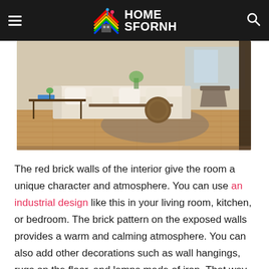HOME SFORNH
[Figure (photo): Interior living room with wooden floors, white sofa, coffee tables, and chairs on an area rug]
The red brick walls of the interior give the room a unique character and atmosphere. You can use an industrial design like this in your living room, kitchen, or bedroom. The brick pattern on the exposed walls provides a warm and calming atmosphere. You can also add other decorations such as wall hangings, rugs on the floor, and lamps made of iron. That way the interior atmosphere of your room becomes more stylish and aesthetic.